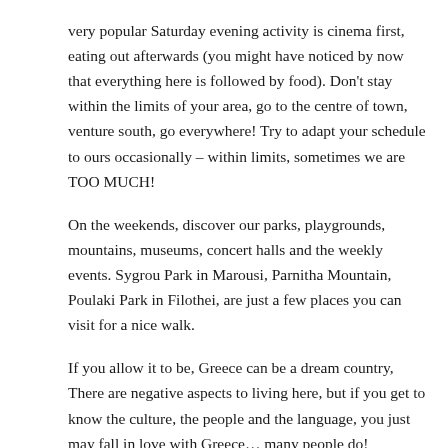very popular Saturday evening activity is cinema first, eating out afterwards (you might have noticed by now that everything here is followed by food). Don't stay within the limits of your area, go to the centre of town, venture south, go everywhere! Try to adapt your schedule to ours occasionally – within limits, sometimes we are TOO MUCH!
On the weekends, discover our parks, playgrounds, mountains, museums, concert halls and the weekly events. Sygrou Park in Marousi, Parnitha Mountain, Poulaki Park in Filothei, are just a few places you can visit for a nice walk.
If you allow it to be, Greece can be a dream country, There are negative aspects to living here, but if you get to know the culture, the people and the language, you just may fall in love with Greece… many people do!